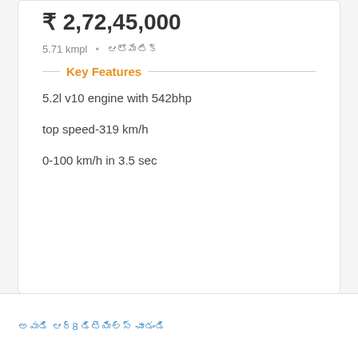₹ 2,72,45,000
5.71 kmpl  •  ఆటోమేటిక్
Key Features
5.2l v10 engine with 542bhp
top speed-319 km/h
0-100 km/h in 3.5 sec
అవుడి ఆర్8 డిటెయిల్స్ చూడండి